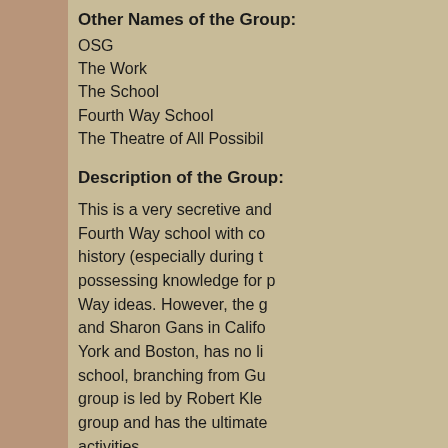Other Names of the Group:
OSG
The Work
The School
Fourth Way School
The Theatre of All Possibil
Description of the Group:
This is a very secretive and Fourth Way school with co history (especially during t possessing knowledge for p Way ideas. However, the g and Sharon Gans in Califo York and Boston, has no li school, branching from Gu group is led by Robert Kle group and has the ultimate activities.
There is a monthly fee (cal member, ranging from $25